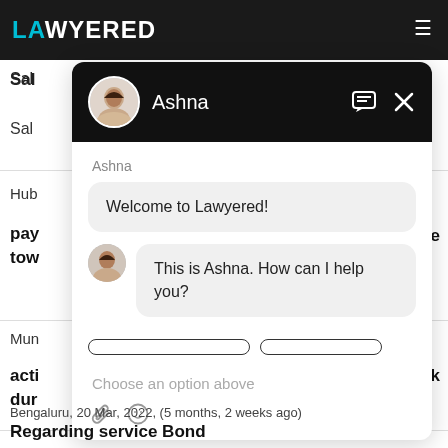[Figure (screenshot): Lawyered website with chat widget overlay showing a conversation with Ashna. The chat widget has a black header with Ashna's avatar and name, two message bubbles ('Welcome to Lawyered!' and 'This is Ashna. How can I help you?'), option buttons, a 'Choose an option above' placeholder, and attachment/emoji icons. Background shows partial legal services website content.]
Ashna
Welcome to Lawyered!
This is Ashna. How can I help you?
Choose an option above
Bengaluru,  20 Mar, 2022,  (5 months, 2 weeks ago)
Regarding service Bond